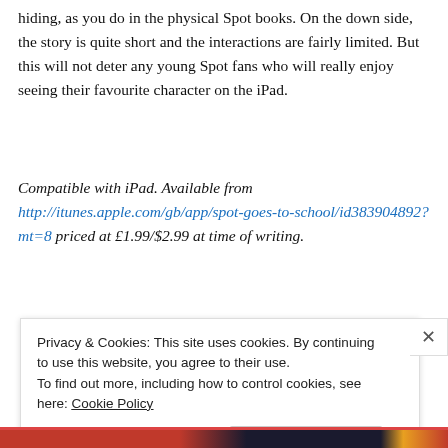hiding, as you do in the physical Spot books. On the down side, the story is quite short and the interactions are fairly limited. But this will not deter any young Spot fans who will really enjoy seeing their favourite character on the iPad.
Compatible with iPad. Available from http://itunes.apple.com/gb/app/spot-goes-to-school/id383904892?mt=8 priced at £1.99/$2.99 at time of writing.
[Figure (photo): Partial screenshot of a colorful app or book cover with dark background featuring yellow, red, and white graphic elements]
Privacy & Cookies: This site uses cookies. By continuing to use this website, you agree to their use.
To find out more, including how to control cookies, see here: Cookie Policy